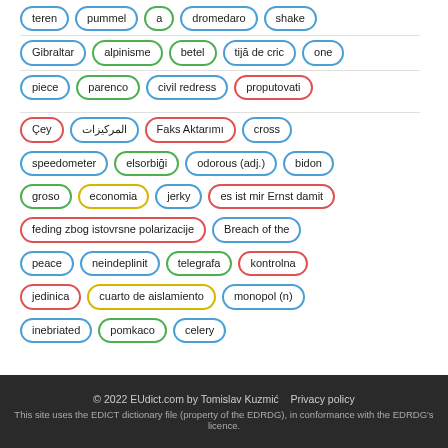teren, pummel, a, dromedaro, shake
Gibraltar, alpinisme, betel, tijă de cric, one
piece, parenco, civil redress, proputovati
Çey, المركيزات, Faks Aktarımı, cross
speedometer, elsorbiği, odorous (adj.), bidon
groso, economia, jerky, es ist mir Ernst damit
feding zbog istovrsne polarizacije, Breach of the
peace, neindeplinit, telegrafa, kontrolna
jedinica, cuarto de aislamiento, monopol (n)
inebriated, pomkaco, celery
© 2022 EUdict.com by Tomislav Kuzmić   Privacy policy
This site uses the EDICT dictionary file (property of the EDRDG), in conformance with the EDRDG's licence.